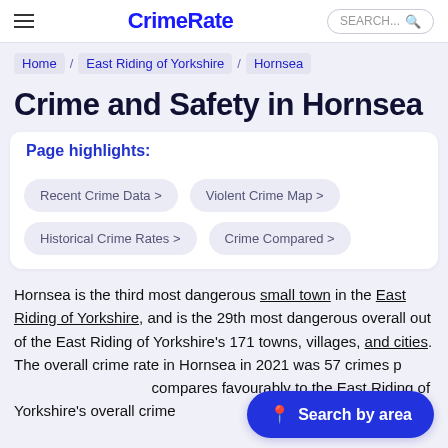CrimeRate
Home / East Riding of Yorkshire / Hornsea
Crime and Safety in Hornsea
Page highlights:
Recent Crime Data >
Violent Crime Map >
Historical Crime Rates >
Crime Compared >
Hornsea is the third most dangerous small town in the East Riding of Yorkshire, and is the 29th most dangerous overall out of the East Riding of Yorkshire's 171 towns, villages, and cities. The overall crime rate in Hornsea in 2021 was 57 crimes p… compares favourably to the East Riding of Yorkshire's overall crime